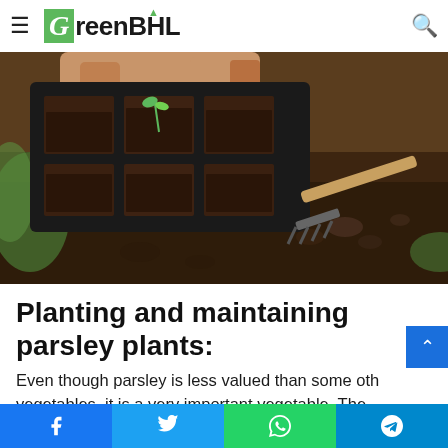GreenBHL
[Figure (photo): Close-up photo of hands placing a black plastic seedling tray with multiple cells filled with dark soil on garden ground, with gardening tools including a rake visible in the background on dark soil.]
Planting and maintaining parsley plants:
Even though parsley is less valued than some other vegetables, it is a very important vegetable. The
Facebook Twitter WhatsApp Telegram